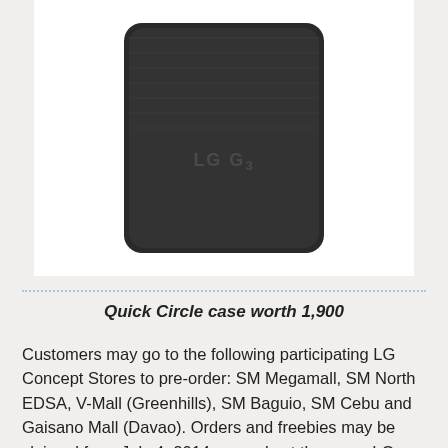[Figure (photo): LG G3 Quick Circle phone case in dark gray/black color, showing the back of the case with LG G3 logo]
Quick Circle case worth 1,900
Customers may go to the following participating LG Concept Stores to pre-order: SM Megamall, SM North EDSA, V-Mall (Greenhills), SM Baguio, SM Cebu and Gaisano Mall (Davao). Orders and freebies may be claimed from July 4, 2014 onwards at the same LG Concept Store location where customers pre-ordered.